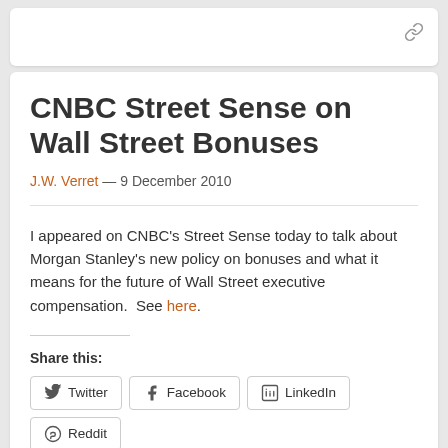CNBC Street Sense on Wall Street Bonuses
J.W. Verret — 9 December 2010
I appeared on CNBC's Street Sense today to talk about Morgan Stanley's new policy on bonuses and what it means for the future of Wall Street executive compensation. See here.
Share this:
Twitter Facebook LinkedIn Reddit Email Print